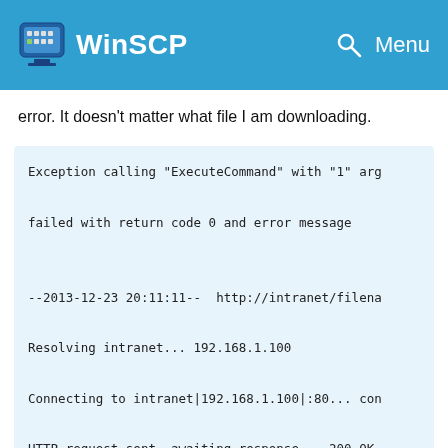WinSCP
error. It doesn't matter what file I am downloading.
Exception calling "ExecuteCommand" with "1" arg
failed with return code 0 and error message

--2013-12-23 20:11:11--  http://intranet/filena
Resolving intranet... 192.168.1.100
Connecting to intranet|192.168.1.100|:80... con
HTTP request sent, awaiting response... 200 OK
Length: 7136 (7.0K) [text/plain]
Saving to: filename.xyz